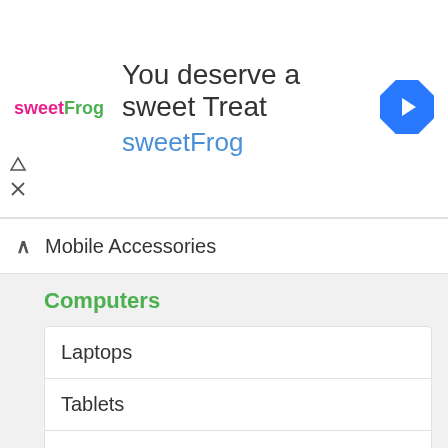[Figure (screenshot): Advertisement banner for sweetFrog with logo, headline 'You deserve a sweet Treat', brand name 'sweetFrog', and navigation arrow icon]
Mobile Accessories
Computers
Laptops
Tablets
Desktops
Monitors
Projectors
Printers & Scanners
Hard Drives
Memory & Storage